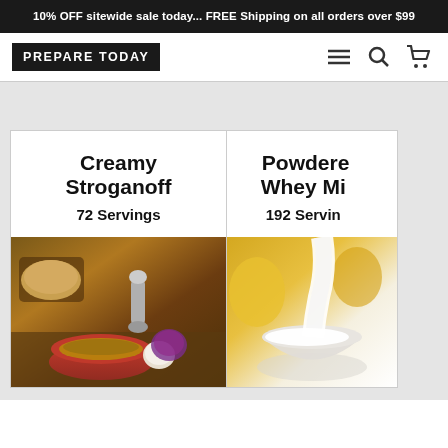10% OFF sitewide sale today... FREE Shipping on all orders over $99
[Figure (logo): Prepare Today logo - white text on black background]
Creamy Stroganoff
72 Servings
[Figure (photo): Photo of creamy stroganoff dish with bread, onions, garlic and spices]
Powdered Whey Mi...
192 Servin...
[Figure (photo): Photo of powdered whey milk product with milk being poured]